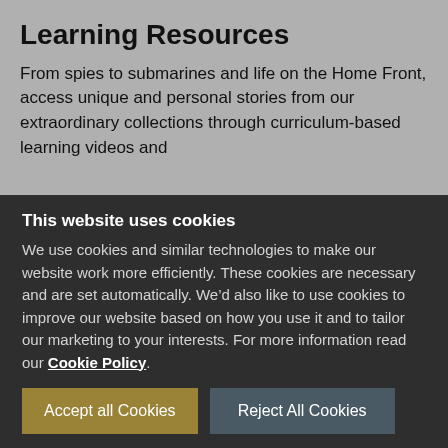Learning Resources
From spies to submarines and life on the Home Front, access unique and personal stories from our extraordinary collections through curriculum-based learning videos and
This website uses cookies
We use cookies and similar technologies to make our website work more efficiently. These cookies are necessary and are set automatically. We’d also like to use cookies to improve our website based on how you use it and to tailor our marketing to your interests. For more information read our Cookie Policy.
Accept all Cookies
Reject All Cookies
Manage Cookies